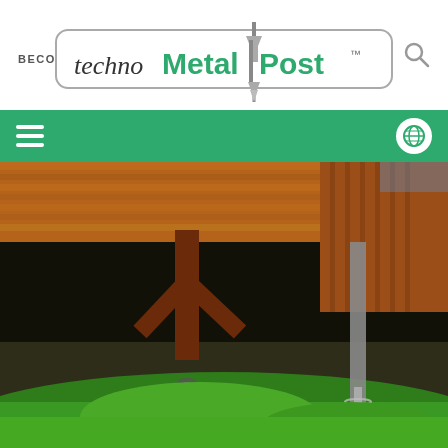BECOME A DEALER
[Figure (logo): Techno Metal Post logo with screw pile icon, text 'techno Metal Post' in green and dark colors inside a rounded rectangle border]
[Figure (photo): Green navigation bar with hamburger menu icon on left and globe icon on right, on a bright green (#2eaa6e) background]
[Figure (photo): Photograph of a wooden structure (deck/cabin) elevated on helical metal piles/posts above a grassy hillside. Dark underside visible with metal screw piles penetrating into the ground, green grass in foreground.]